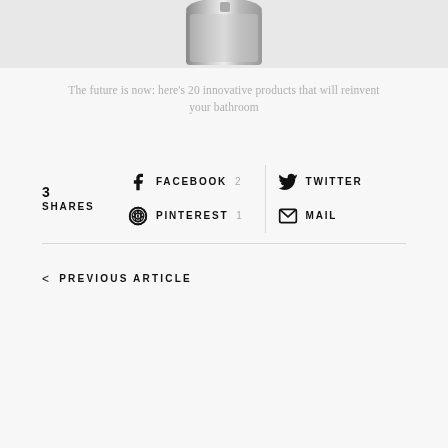[Figure (photo): Top portion of a chrome shower head against a light background]
The future is now: here’s 20 innovative products that will reinvent your bathroom
3 SHARES | FACEBOOK 2 | TWITTER | PINTEREST 1 | MAIL
< PREVIOUS ARTICLE